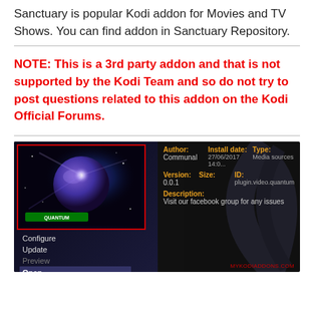Sanctuary is popular Kodi addon for Movies and TV Shows. You can find addon in Sanctuary Repository.
NOTE: This is a 3rd party addon and that is not supported by the Kodi Team and so do not try to post questions related to this addon on the Kodi Official Forums.
[Figure (screenshot): Kodi addon info screen showing Sanctuary/Quantum addon details: Author: Communal, Version: 0.0.1, Install date: 27/06/2017 14:0..., Type: Media sources, ID: plugin.video.quantum, Description: Visit our facebook group for any issues. Menu items: Configure, Update, Preview, Open (selected/highlighted), Uninstall. Watermark: MYKODIADDONS.COM]